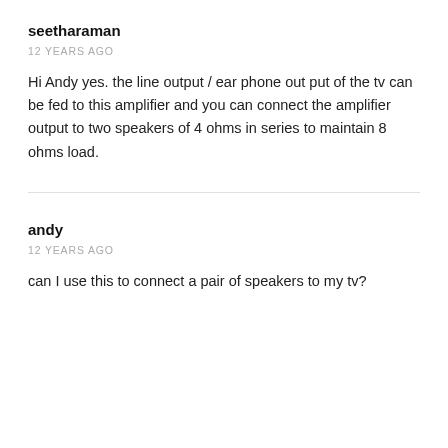seetharaman
12 YEARS AGO
Hi Andy yes. the line output / ear phone out put of the tv can be fed to this amplifier and you can connect the amplifier output to two speakers of 4 ohms in series to maintain 8 ohms load.
andy
12 YEARS AGO
can I use this to connect a pair of speakers to my tv?